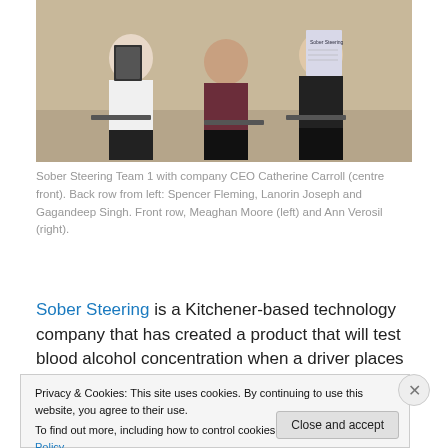[Figure (photo): Three people seated in chairs holding documents/booklets. Centre person is the CEO Catherine Carroll. Back row from left: Spencer Fleming, Lanorin Joseph and Gagandeep Singh. Front row: Meaghan Moore (left) and Ann Verosil (right).]
Sober Steering Team 1 with company CEO Catherine Carroll (centre front). Back row from left: Spencer Fleming, Lanorin Joseph and Gagandeep Singh. Front row, Meaghan Moore (left) and Ann Verosil (right).
Sober Steering is a Kitchener-based technology company that has created a product that will test blood alcohol concentration when a driver places their palm on the
Privacy & Cookies: This site uses cookies. By continuing to use this website, you agree to their use.
To find out more, including how to control cookies, see here: Cookie Policy